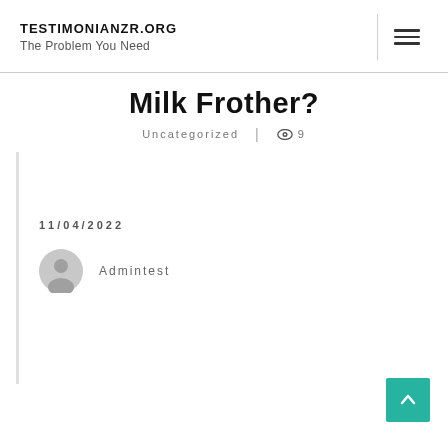TESTIMONIANZR.ORG The Problem You Need
Milk Frother?
Uncategorized | 9
11/04/2022
Admintest